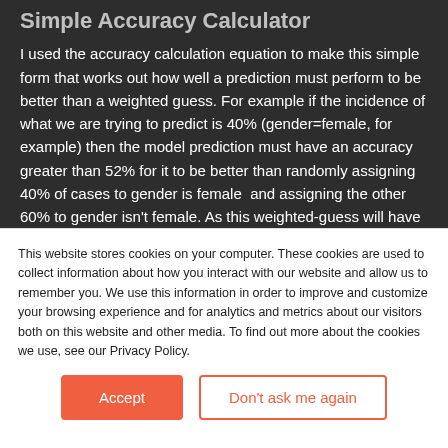Simple Accuracy Calculator
I used the accuracy calculation equation to make this simple form that works out how well a prediction must perform to be better than a weighted guess. For example if the incidence of what we are trying to predict is 40% (gender=female, for example) then the model prediction must have an accuracy greater than 52% for it to be better than randomly assigning 40% of cases to gender is female  and assigning the other 60% to gender isn't female. As this weighted-guess will have an
This website stores cookies on your computer. These cookies are used to collect information about how you interact with our website and allow us to remember you. We use this information in order to improve and customize your browsing experience and for analytics and metrics about our visitors both on this website and other media. To find out more about the cookies we use, see our Privacy Policy.